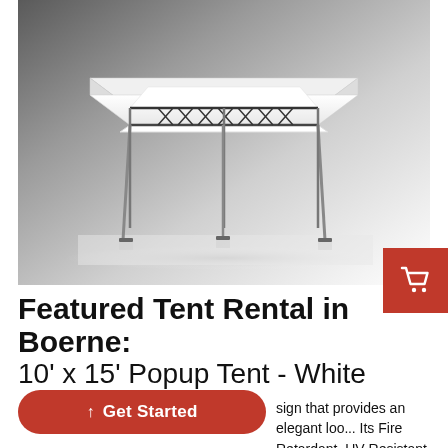[Figure (photo): A white 10x15 popup tent with metal frame and legs on a gradient gray-to-white background]
Featured Tent Rental in Boerne:
10' x 15' Popup Tent - White
T... sign that provides an elegant loo... Its Fire Retardant, UV Resistant, Block-Out vinyl material attributes are craftily made to